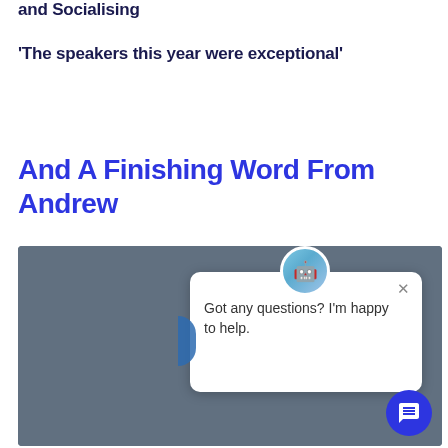and Socialising
'The speakers this year were exceptional'
And A Finishing Word From Andrew
[Figure (screenshot): A screenshot of a chat widget popup on a dark grey background. A circular chatbot icon is at the top, and a white speech bubble reads 'Got any questions? I'm happy to help.' with an X close button and a blue circular chat button in the bottom right.]